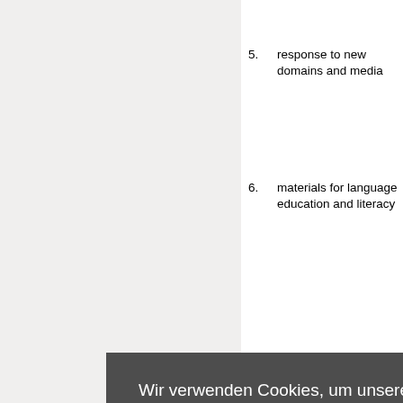5. response to new domains and media
6. materials for language education and literacy
al nal d cia se vard
Wir verwenden Cookies, um unsere Webseiten benutzerfreundlicher zu gestalten und um Zugriffsstatistiken zu erheben. Durch die Nutzung unserer Webseiten akzeptieren Sie die Speicherung von Cookies.
Mehr erfahren.
Cookies akzeptieren